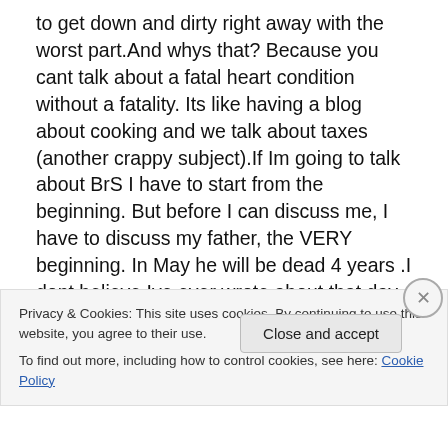to get down and dirty right away with the worst part.And whys that? Because you cant talk about a fatal heart condition without a fatality. Its like having a blog about cooking and we talk about taxes (another crappy subject).If Im going to talk about BrS I have to start from the beginning. But before I can discuss me, I have to discuss my father, the VERY beginning. In May he will be dead 4 years .I dont believe Ive ever wrote about that day. God knows Ive played out that day in my head every day but its never made it to paper (or computer screen) I should stop trying to be funny because its only a sad
Privacy & Cookies: This site uses cookies. By continuing to use this website, you agree to their use.
To find out more, including how to control cookies, see here: Cookie Policy
Close and accept